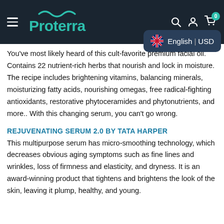Proterra — English | USD
You've most likely heard of this cult-favorite premium facial oil. Contains 22 nutrient-rich herbs that nourish and lock in moisture. The recipe includes brightening vitamins, balancing minerals, moisturizing fatty acids, nourishing omegas, free radical-fighting antioxidants, restorative phytoceramides and phytonutrients, and more.. With this changing serum, you can't go wrong.
REJUVENATING SERUM 2.0 BY TATA HARPER
This multipurpose serum has micro-smoothing technology, which decreases obvious aging symptoms such as fine lines and wrinkles, loss of firmness and elasticity, and dryness. It is an award-winning product that tightens and brightens the look of the skin, leaving it plump, healthy, and young.